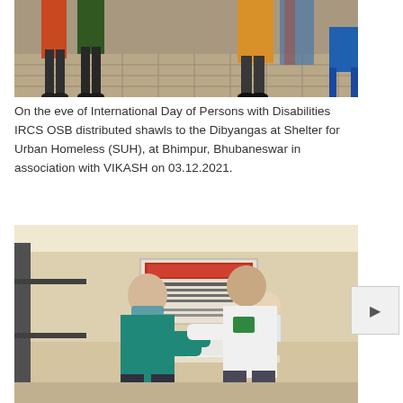[Figure (photo): People standing in a tiled indoor space, some wearing colorful clothing. Partial view showing legs and feet of several individuals.]
On the eve of International Day of Persons with Disabilities IRCS OSB distributed shawls to the Dibyangas at Shelter for Urban Homeless (SUH), at Bhimpur, Bhubaneswar in association with VIKASH on 03.12.2021.
[Figure (photo): Indoor distribution event showing a person in a teal shirt and mask receiving items from a person in a white polo shirt with a VIKASH logo. A banner and a person seated at a table are visible in the background.]